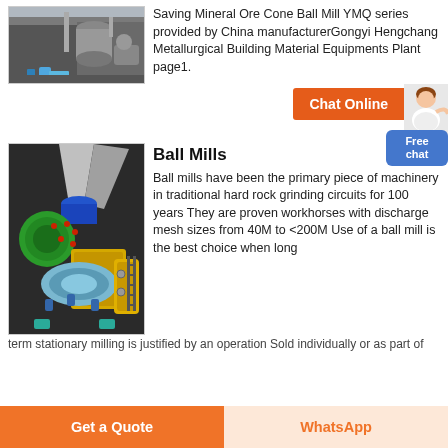[Figure (photo): Industrial ball mill equipment in an outdoor/factory setting with machinery and storage containers]
Saving Mineral Ore Cone Ball Mill YMQ series provided by China manufacturerGongyi Hengchang Metallurgical Building Material Equipments Plant page1.
[Figure (illustration): 3D cutaway rendering of a ball mill machine showing internal components, colored green, blue, yellow, and grey on dark background]
Ball Mills
Ball mills have been the primary piece of machinery in traditional hard rock grinding circuits for 100 years They are proven workhorses with discharge mesh sizes from 40M to <200M Use of a ball mill is the best choice when long term stationary milling is justified by an operation Sold individually or as part of